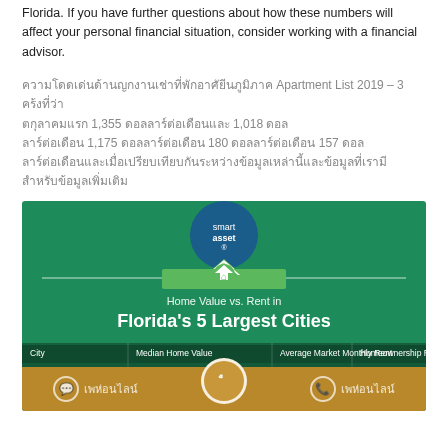Florida. If you have further questions about how these numbers will affect your personal financial situation, consider working with a financial advisor.
[Thai text block referencing Apartment List 2019, 3 categories: 1,355 / 1,018; 1,175 / 180 / 157 and additional Thai content]
[Figure (infographic): SmartAsset infographic: Home Value vs. Rent in Florida's 5 Largest Cities. Table with columns: City, Median Home Value, Average Market Monthly Rent, Homeownership Rate. Row: Jacksonville, $186,519, $1,268, 55.8%]
| City | Median Home Value | Average Market Monthly Rent | Homeownership Rate |
| --- | --- | --- | --- |
| Jacksonville | $ 186,519 | $ 1,268 | 55.8 % |